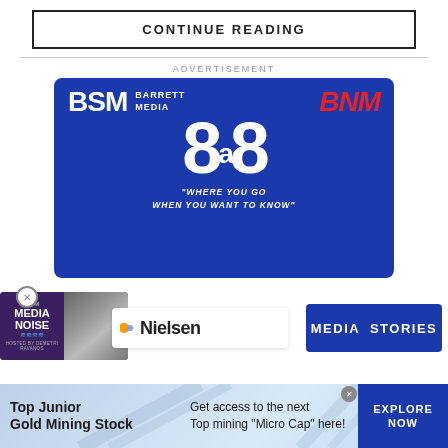CONTINUE READING
ADVERTISEMENT
[Figure (logo): BSM Barrett Media BNM advertisement with large '8a8' numbers and tagline 'WHERE YOU GO WHEN YOU WANT TO KNOW']
[Figure (photo): Media Noise podcast thumbnail with BSM branding and host photo]
[Figure (logo): Nielsen logo on white background]
[Figure (logo): Media Stories text on blue background]
[Figure (advertisement): Bottom banner ad: Top Junior Gold Mining Stock - Get access to the next Top mining Micro Cap here! EXPLORE NOW]